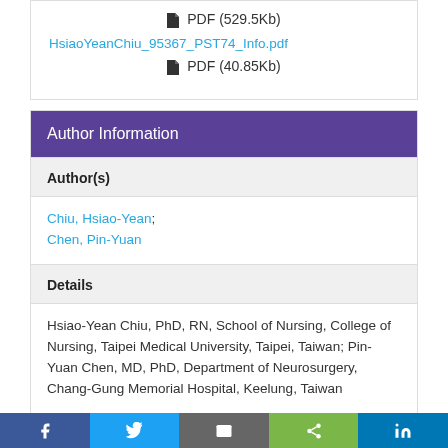PDF (529.5Kb)
HsiaoYeanChiu_95367_PST74_Info.pdf
PDF (40.85Kb)
Author Information
Author(s)
Chiu, Hsiao-Yean; Chen, Pin-Yuan
Details
Hsiao-Yean Chiu, PhD, RN, School of Nursing, College of Nursing, Taipei Medical University, Taipei, Taiwan; Pin-Yuan Chen, MD, PhD, Department of Neurosurgery, Chang-Gung Memorial Hospital, Keelung, Taiwan